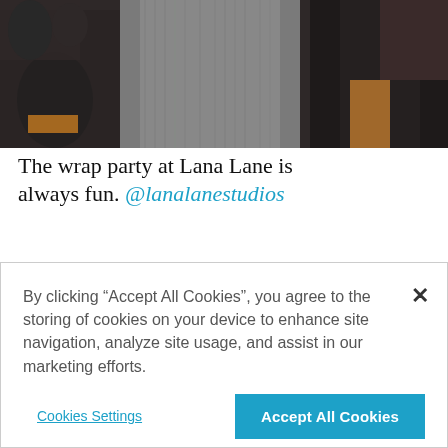[Figure (photo): Party scene with people in dark clothing, one wearing a grey textured jacket, in a dimly lit venue.]
The wrap party at Lana Lane is always fun. @lanalanestudios
[Figure (photo): Outdoor urban scene with a chain-link fence area on the left and tall buildings fading into haze on the right.]
By clicking “Accept All Cookies”, you agree to the storing of cookies on your device to enhance site navigation, analyze site usage, and assist in our marketing efforts.
Cookies Settings
Accept All Cookies